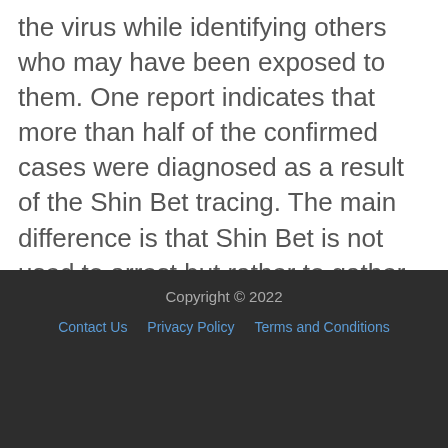the virus while identifying others who may have been exposed to them. One report indicates that more than half of the confirmed cases were diagnosed as a result of the Shin Bet tracing. The main difference is that Shin Bet is not used to arrest but rather to gather important data on the spread of the virus.
Copyright © 2022
Contact Us   Privacy Policy   Terms and Conditions